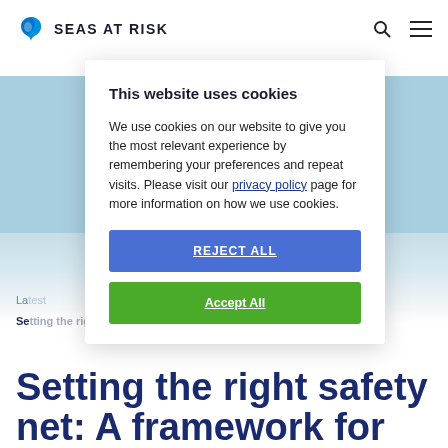SEAS AT RISK
[Figure (screenshot): Cookie consent modal overlay on the Seas at Risk website. Modal contains title 'This website uses cookies', body text about cookie usage with a privacy policy link, a blue 'REJECT ALL' button, and a green 'Accept All' button. Behind the modal is a coastal/ocean photograph and partial page content.]
Setting the right safety net: A framework for